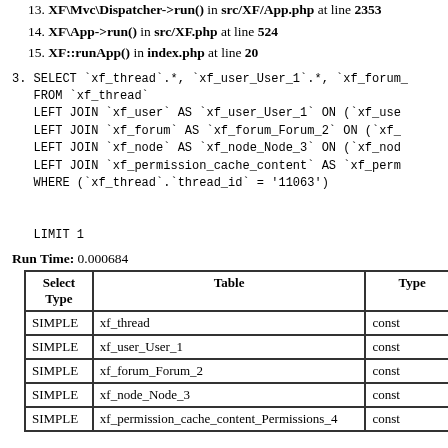13. XF\Mvc\Dispatcher->run() in src/XF/App.php at line 2353
14. XF\App->run() in src/XF.php at line 524
15. XF::runApp() in index.php at line 20
3. SELECT `xf_thread`.*, `xf_user_User_1`.*, `xf_forum_
    FROM `xf_thread`
    LEFT JOIN `xf_user` AS `xf_user_User_1` ON (`xf_use
    LEFT JOIN `xf_forum` AS `xf_forum_Forum_2` ON (`xf_
    LEFT JOIN `xf_node` AS `xf_node_Node_3` ON (`xf_nod
    LEFT JOIN `xf_permission_cache_content` AS `xf_perm
    WHERE (`xf_thread`.`thread_id` = '11063')


    LIMIT 1
Run Time: 0.000684
| Select Type | Table | Type |
| --- | --- | --- |
| SIMPLE | xf_thread | const |
| SIMPLE | xf_user_User_1 | const |
| SIMPLE | xf_forum_Forum_2 | const |
| SIMPLE | xf_node_Node_3 | const |
| SIMPLE | xf_permission_cache_content_Permissions_4 | const |